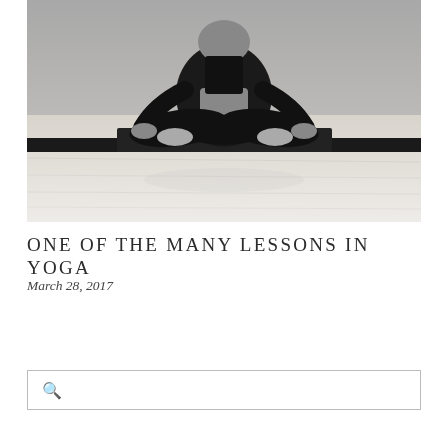[Figure (photo): Black and white photo of a person sitting cross-legged in a yoga meditation pose on a wooden floor, shot from the torso area, showing hands resting on knees in a mudra position. The background is a plain light-colored wall.]
ONE OF THE MANY LESSONS IN YOGA
March 28, 2017